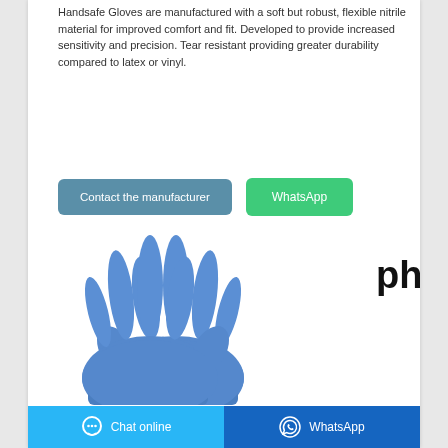Handsafe Gloves are manufactured with a soft but robust, flexible nitrile material for improved comfort and fit. Developed to provide increased sensitivity and precision. Tear resistant providing greater durability compared to latex or vinyl.
[Figure (other): Two blue nitrile gloves displayed side by side on white background]
Chat online | WhatsApp